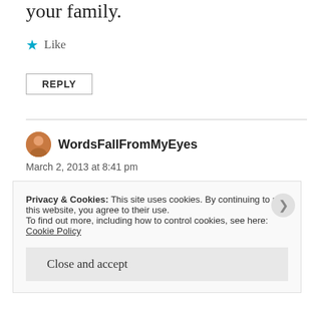your family.
★ Like
REPLY
WordsFallFromMyEyes
March 2, 2013 at 8:41 pm
An accident waiting to happen, an accident happened, nothing is an accident.
Privacy & Cookies: This site uses cookies. By continuing to use this website, you agree to their use.
To find out more, including how to control cookies, see here: Cookie Policy
Close and accept